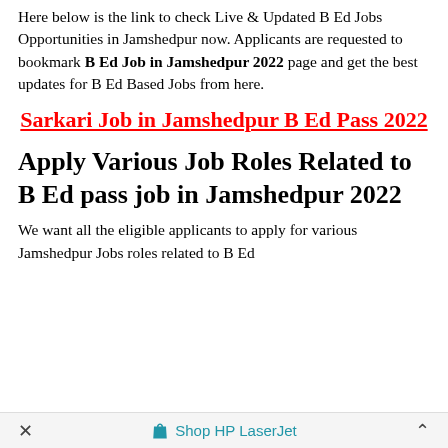Here below is the link to check Live & Updated B Ed Jobs Opportunities in Jamshedpur now. Applicants are requested to bookmark B Ed Job in Jamshedpur 2022 page and get the best updates for B Ed Based Jobs from here.
Sarkari Job in Jamshedpur B Ed Pass 2022
Apply Various Job Roles Related to B Ed pass job in Jamshedpur 2022
We want all the eligible applicants to apply for various Jamshedpur Jobs roles related to B Ed...
× Shop HP LaserJet ^